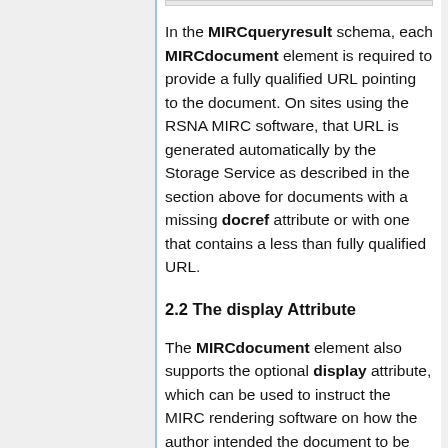In the MIRCqueryresult schema, each MIRCdocument element is required to provide a fully qualified URL pointing to the document. On sites using the RSNA MIRC software, that URL is generated automatically by the Storage Service as described in the section above for documents with a missing docref attribute or with one that contains a less than fully qualified URL.
2.2 The display Attribute
The MIRCdocument element also supports the optional display attribute, which can be used to instruct the MIRC rendering software on how the author intended the document to be displayed. The RSNA MIRC rendering software supports three values of the display